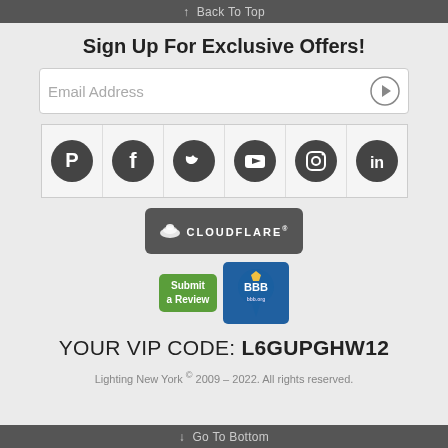↑  Back To Top
Sign Up For Exclusive Offers!
[Figure (screenshot): Email address input field with submit arrow button]
[Figure (infographic): Social media icons row: Pinterest, Facebook, Twitter, YouTube, Instagram, LinkedIn]
[Figure (logo): Cloudflare badge/logo]
[Figure (logo): BBB Submit a Review badge with Better Business Bureau logo]
YOUR VIP CODE: L6GUPGHW12
Lighting New York © 2009 – 2022. All rights reserved.
↓  Go To Bottom